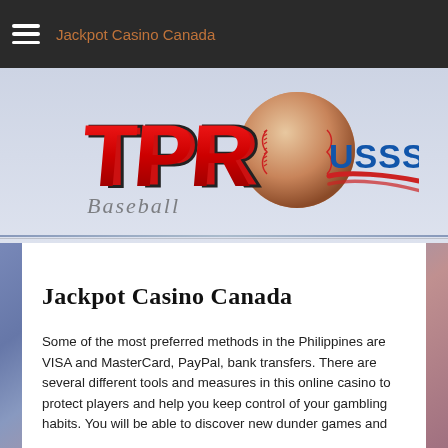Jackpot Casino Canada
[Figure (logo): TPR Baseball USSSA logo banner with baseball graphic]
Jackpot Casino Canada
Some of the most preferred methods in the Philippines are VISA and MasterCard, PayPal, bank transfers. There are several different tools and measures in this online casino to protect players and help you keep control of your gambling habits. You will be able to discover new dunder games and